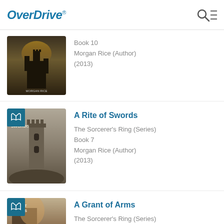OverDrive
[Figure (photo): Book cover for a fantasy novel – dark castle silhouette against stormy sky]
Book 10
Morgan Rice (Author)
(2013)
[Figure (photo): Book cover for A Rite of Swords – stone tower against gray sky]
A Rite of Swords
The Sorcerer's Ring (Series)
Book 7
Morgan Rice (Author)
(2013)
[Figure (photo): Book cover for A Grant of Arms – partial view of fantasy scene]
A Grant of Arms
The Sorcerer's Ring (Series)